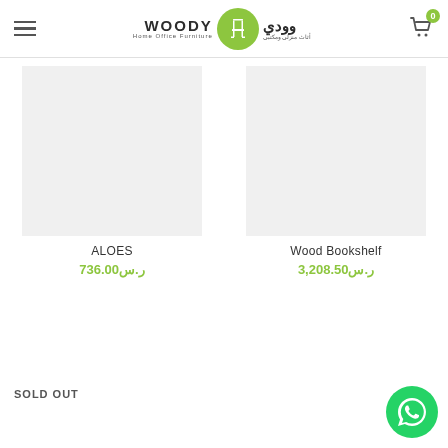[Figure (logo): Woody Home Office Furniture logo with green circle containing a chair icon, English and Arabic text]
ALOES
ر.س736.00
Wood Bookshelf
ر.س3,208.50
SOLD OUT
[Figure (illustration): WhatsApp contact button (green circle with WhatsApp logo)]